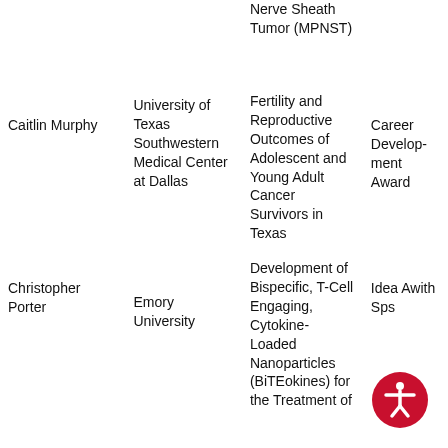| Caitlin Murphy | University of Texas Southwestern Medical Center at Dallas | Nerve Sheath Tumor (MPNST)
Fertility and Reproductive Outcomes of Adolescent and Young Adult Cancer Survivors in Texas | Career Development Award |
| Christopher Porter | Emory University | Development of Bispecific, T-Cell Engaging, Cytokine-Loaded Nanoparticles (BiTEokines) for the Treatment of | Idea Award with Special Focus |